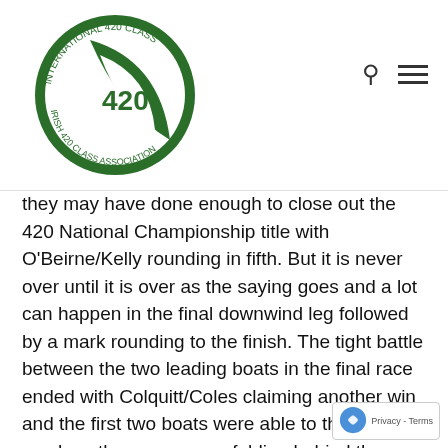[Figure (logo): Irish 420 Class Association circular logo with a green sail and the number 420 in the center. Text around the circle reads 'INTERNATIONAL 420 CLASS' and 'IRISH 420 CLASS ASSOCIATION'.]
they may have done enough to close out the 420 National Championship title with O'Beirne/Kelly rounding in fifth. But it is never over until it is over as the saying goes and a lot can happen in the final downwind leg followed by a mark rounding to the finish. The tight battle between the two leading boats in the final race ended with Colquitt/Coles claiming another win and the first two boats were able to then wait to see how the race was unfolding behind them. The next three boats were closely spaced and O'Beirne/Kelly were able to reel in the two boats ahead of them so that when a luffing duel started they were able to surge through to take third place in the final race and with it the title of Irish National Champion and first ladies crew.